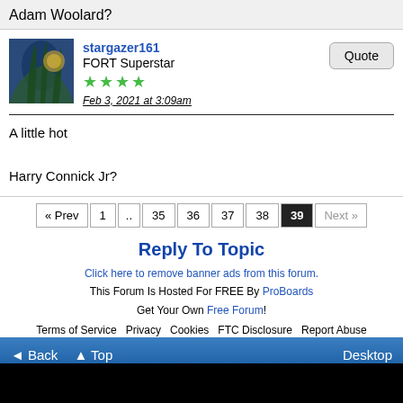Adam Woolard?
stargazer161
FORT Superstar
★★★★
Feb 3, 2021 at 3:09am
A little hot

Harry Connick Jr?
« Prev  1  ..  35  36  37  38  39  Next »
Reply To Topic
Click here to remove banner ads from this forum.
This Forum Is Hosted For FREE By ProBoards
Get Your Own Free Forum!
Terms of Service  Privacy  Cookies  FTC Disclosure  Report Abuse  Do Not Sell My Personal Information
◄ Back  ▲ Top  Desktop